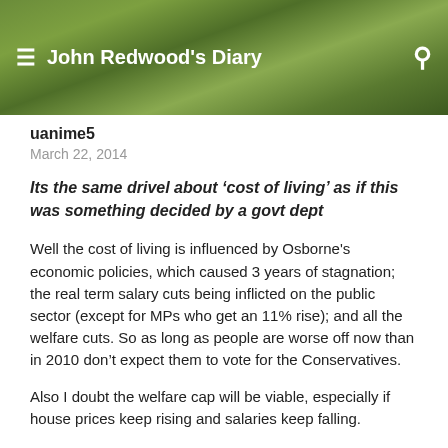John Redwood's Diary
uanime5
March 22, 2014
Its the same drivel about ‘cost of living’ as if this was something decided by a govt dept
Well the cost of living is influenced by Osborne's economic policies, which caused 3 years of stagnation; the real term salary cuts being inflicted on the public sector (except for MPs who get an 11% rise); and all the welfare cuts. So as long as people are worse off now than in 2010 don’t expect them to vote for the Conservatives.
Also I doubt the welfare cap will be viable, especially if house prices keep rising and salaries keep falling.